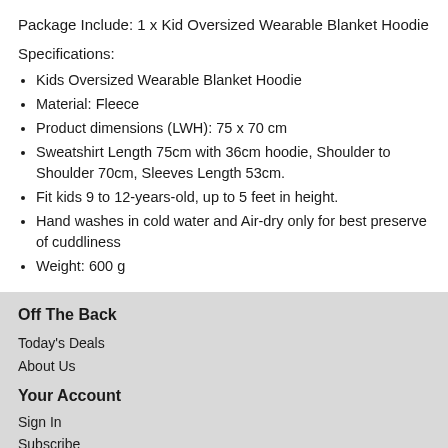Package Include: 1 x Kid Oversized Wearable Blanket Hoodie
Specifications:
Kids Oversized Wearable Blanket Hoodie
Material: Fleece
Product dimensions (LWH): 75 x 70 cm
Sweatshirt Length 75cm with 36cm hoodie, Shoulder to Shoulder 70cm, Sleeves Length 53cm.
Fit kids 9 to 12-years-old, up to 5 feet in height.
Hand washes in cold water and Air-dry only for best preserve of cuddliness
Weight: 600 g
Off The Back
Today's Deals
About Us
Your Account
Sign In
Subscribe